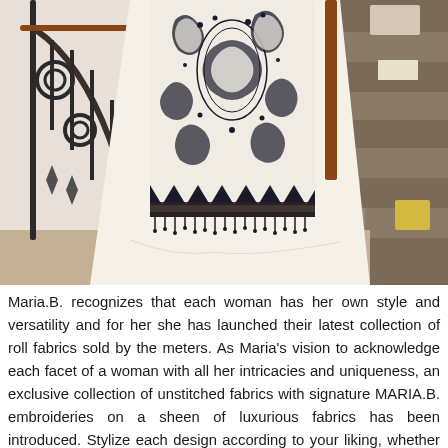[Figure (photo): A white embroidered garment (dupatta/shawl) with intricate black paisley and floral embroidery, displayed near a staircase with decorative black wrought-iron railings and marble/granite steps.]
Maria.B. recognizes that each woman has her own style and versatility and for her she has launched their latest collection of roll fabrics sold by the meters. As Maria's vision to acknowledge each facet of a woman with all her intricacies and uniqueness, an exclusive collection of unstitched fabrics with signature MARIA.B. embroideries on a sheen of luxurious fabrics has been introduced. Stylize each design according to your liking, whether it's a straight shirt, a long front-open jacket or even a flared frock. Maria.B. offers its customers a chance to enjoy the brand's aesthetic with their own stitching flair. If you're looking for